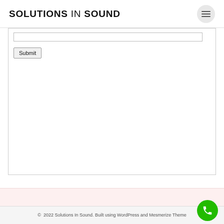SOLUTIONS IN SOUND
Submit
© 2022 Solutions In Sound. Built using WordPress and Mesmerize Theme